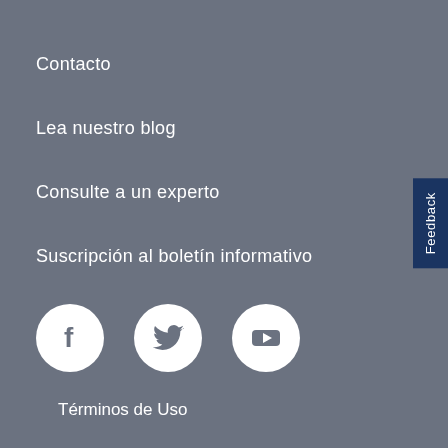Contacto
Lea nuestro blog
Consulte a un experto
Suscripción al boletín informativo
[Figure (illustration): Three white social media icons on circular white backgrounds: Facebook (f logo), Twitter (bird logo), YouTube (play button logo), on grey background]
Feedback
Términos de Uso